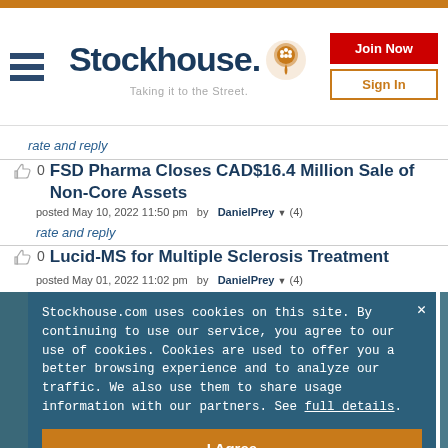Stockhouse - Taking it to the Street.
rate and reply
FSD Pharma Closes CAD$16.4 Million Sale of Non-Core Assets
posted May 10, 2022 11:50 pm  by  DanielPrey ▼ (4)
rate and reply
Lucid-MS for Multiple Sclerosis Treatment
posted May 01, 2022 11:02 pm  by  DanielPrey ▼ (4)
Stockhouse.com uses cookies on this site. By continuing to use our service, you agree to our use of cookies. Cookies are used to offer you a better browsing experience and to analyze our traffic. We also use them to share usage information with our partners. See full details.
I Agree